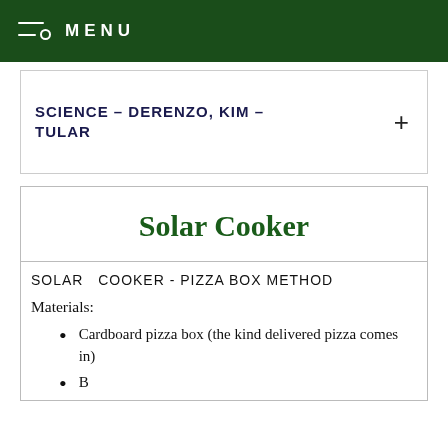MENU
SCIENCE – DERENZO, KIM – TULAR
Solar Cooker
SOLAR  COOKER - PIZZA BOX METHOD
Materials:
Cardboard pizza box (the kind delivered pizza comes in)
B... (partial, cut off)